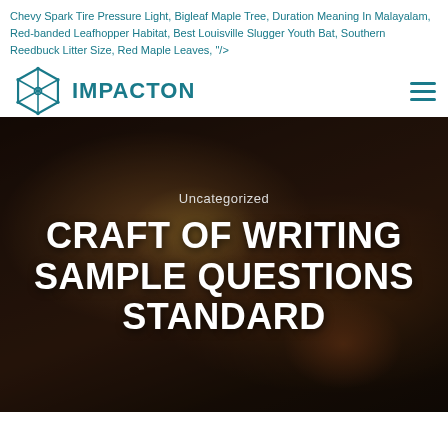Chevy Spark Tire Pressure Light, Bigleaf Maple Tree, Duration Meaning In Malayalam, Red-banded Leafhopper Habitat, Best Louisville Slugger Youth Bat, Southern Reedbuck Litter Size, Red Maple Leaves, "/>
[Figure (logo): IMPACTON logo with hexagonal geometric icon in teal/dark cyan color]
Uncategorized
CRAFT OF WRITING SAMPLE QUESTIONS STANDARD